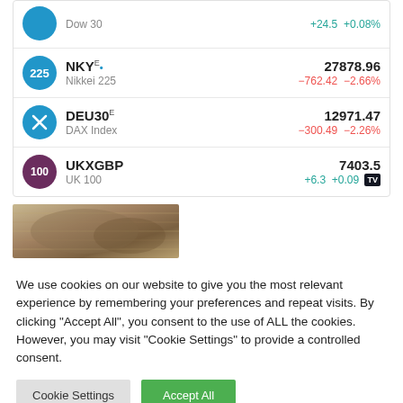| Symbol | Name | Price | Change | Change% |
| --- | --- | --- | --- | --- |
| Dow 30 icon | Dow 30 |  | +24.5 | +0.08% |
| NKY (225) | Nikkei 225 | 27878.96 | −762.42 | −2.66% |
| DEU30 | DAX Index | 12971.47 | −300.49 | −2.26% |
| UKXGBP (100) | UK 100 | 7403.5 | +6.3 | +0.09% |
[Figure (photo): Rolled/folded newspapers photo strip]
We use cookies on our website to give you the most relevant experience by remembering your preferences and repeat visits. By clicking "Accept All", you consent to the use of ALL the cookies. However, you may visit "Cookie Settings" to provide a controlled consent.
Cookie Settings | Accept All